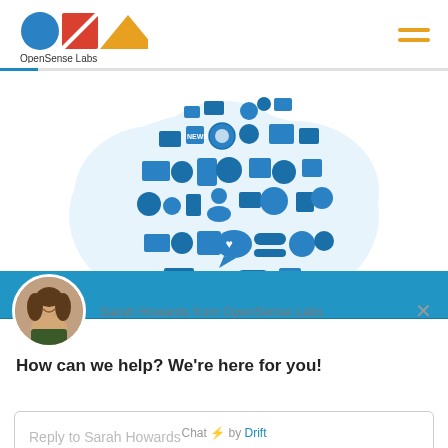[Figure (logo): OpenSense Labs logo with blue circle, red square with diagonal line, and orange triangle]
[Figure (illustration): Cloud shape made up of blue technology and social media icons including news, camera, microphone, satellite, music, and communication icons]
Sarah Howards from OpenSense Labs
How can we help? We're here for you!
Reply to Sarah Howards
Chat ⚡ by Drift